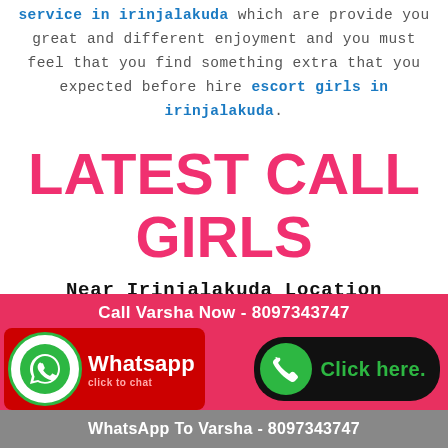service in irinjalakuda which are provide you great and different enjoyment and you must feel that you find something extra that you expected before hire escort girls in irinjalakuda.
LATEST CALL GIRLS
Near Irinjalakuda Location
Call Varsha Now - 8097343747
Whatsapp click to chat
Click here.
WhatsApp To Varsha - 8097343747